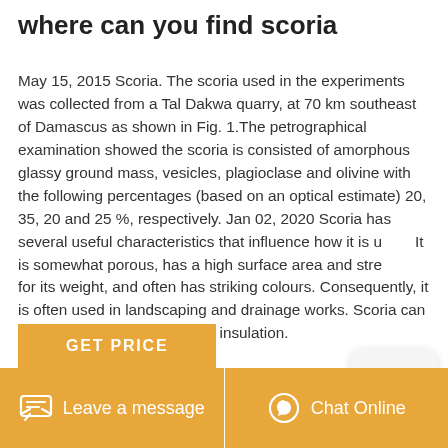where can you find scoria
May 15, 2015 Scoria. The scoria used in the experiments was collected from a Tal Dakwa quarry, at 70 km southeast of Damascus as shown in Fig. 1.The petrographical examination showed the scoria is consisted of amorphous glassy ground mass, vesicles, plagioclase and olivine with the following percentages (based on an optical estimate) 20, 35, 20 and 25 %, respectively. Jan 02, 2020 Scoria has several useful characteristics that influence how it is u... It is somewhat porous, has a high surface area and stre... for its weight, and often has striking colours. Consequently, it is often used in landscaping and drainage works. Scoria can be used for high-temperature insulation.
GET PRICE | Leave a message | Chat Online